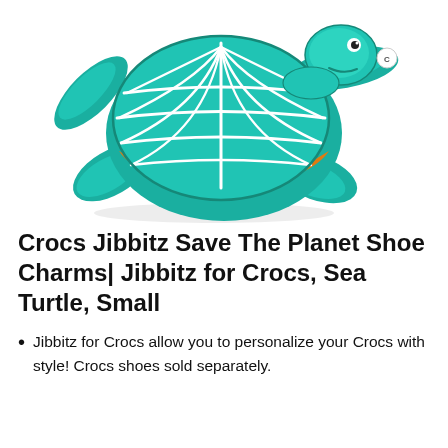[Figure (photo): A teal/turquoise sea turtle Jibbitz shoe charm with white shell grid pattern and orange underside accent, viewed from above at an angle. The turtle charm has a small Crocs logo on its right side.]
Crocs Jibbitz Save The Planet Shoe Charms| Jibbitz for Crocs, Sea Turtle, Small
Jibbitz for Crocs allow you to personalize your Crocs with style! Crocs shoes sold separately.